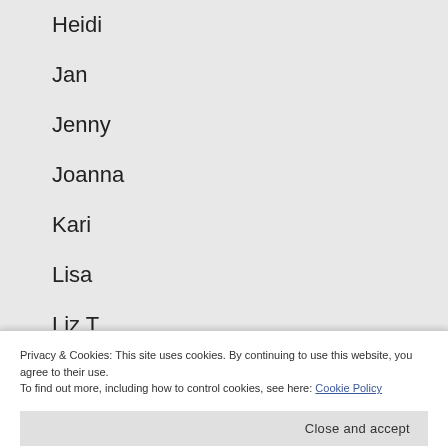Heidi
Jan
Jenny
Joanna
Kari
Lisa
Liz T
Rachael
Privacy & Cookies: This site uses cookies. By continuing to use this website, you agree to their use.
To find out more, including how to control cookies, see here: Cookie Policy
Close and accept